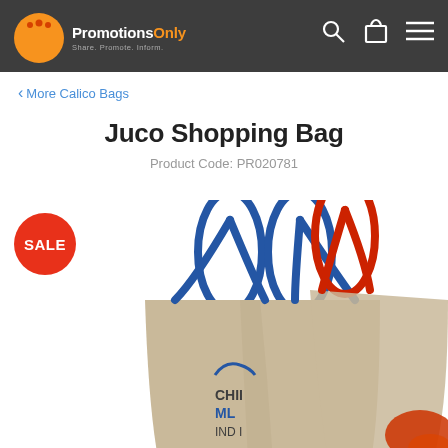PromotionsOnly
< More Calico Bags
Juco Shopping Bag
Product Code: PR020781
[Figure (photo): Two Juco shopping bags with handles — one with blue trim, one with red trim. Both bags are natural/beige colored fabric. The blue-trimmed bag has a printed logo reading 'CHILI ML INDIA'. A red-trimmed bag is partially visible behind it. A red circular SALE badge is overlaid in the top left.]